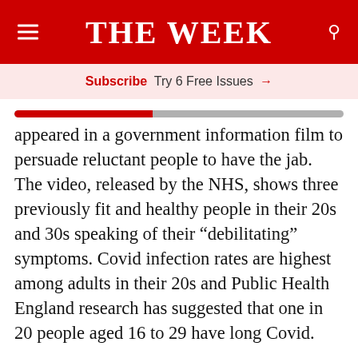THE WEEK
Subscribe  Try 6 Free Issues →
appeared in a government information film to persuade reluctant people to have the jab. The video, released by the NHS, shows three previously fit and healthy people in their 20s and 30s speaking of their "debilitating" symptoms. Covid infection rates are highest among adults in their 20s and Public Health England research has suggested that one in 20 people aged 16 to 29 have long Covid.
INSIDE SCIENTISTS' BATTLE AGAINST LONG COVID →